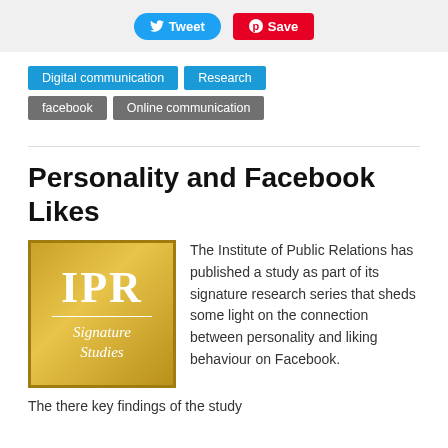Tweet  Save
Digital communication
Research
facebook
Online communication
Personality and Facebook Likes
[Figure (logo): IPR Signature Studies gold logo badge with white text on gold gradient background]
The Institute of Public Relations has published a study as part of its signature research series that sheds some light on the connection between personality and liking behaviour on Facebook. The there key findings of the study